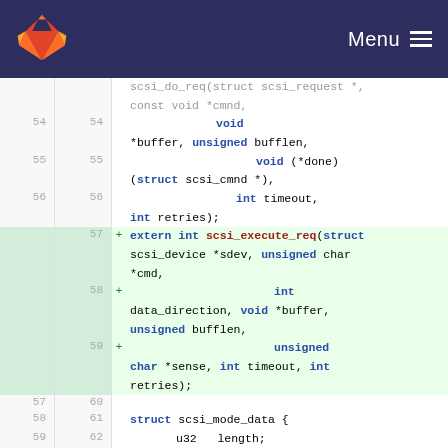GitLab Menu
[Figure (screenshot): GitLab code diff view showing C source code lines 54-62 with lines 57-59 added (highlighted in green), showing scsi_execute_req function signature addition]
scsi_do_req(struct scsi_request *, const void *cmnd,
54 54 void *buffer, unsigned bufflen,
55 55 void (*done)(struct scsi_cmnd *),
56 56 int timeout, int retries);
57 + extern int scsi_execute_req(struct scsi_device *sdev, unsigned char *cmd,
58 + int data_direction, void *buffer, unsigned bufflen,
59 + unsigned char *sense, int timeout, int retries);
57 60
58 61 struct scsi_mode_data {
59 62 u32 length;